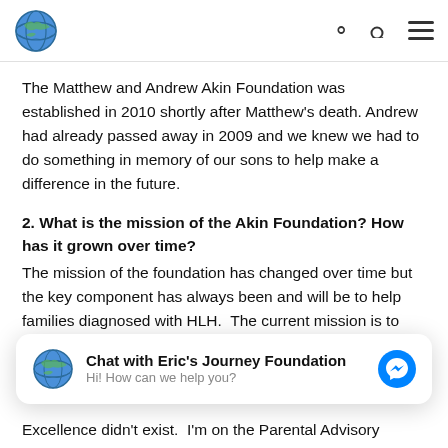[Navigation bar with globe logo, search icon, and hamburger menu]
The Matthew and Andrew Akin Foundation was established in 2010 shortly after Matthew's death. Andrew had already passed away in 2009 and we knew we had to do something in memory of our sons to help make a difference in the future.
2. What is the mission of the Akin Foundation? How has it grown over time?
The mission of the foundation has changed over time but the key component has always been and will be to help families diagnosed with HLH.  The current mission is to support the HLH Center of Excellence at Cincinnati Children's Hospital and their four core priorities of
[Figure (screenshot): Chat widget: Chat with Eric's Journey Foundation — Hi! How can we help you? with globe icon and Messenger icon]
Excellence didn't exist.  I'm on the Parental Advisory